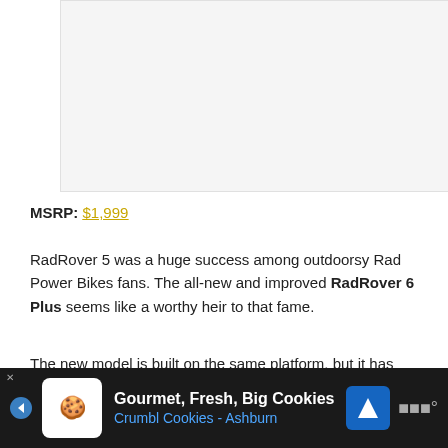[Figure (photo): Product image placeholder area (light gray rectangle)]
MSRP: $1,999
RadRover 5 was a huge success among outdoorsy Rad Power Bikes fans. The all-new and improved RadRover 6 Plus seems like a worthy heir to that fame.
The new model is built on the same platform, but it has been redesigned and has some reinvented but improved...
[Figure (other): Advertisement banner: Gourmet, Fresh, Big Cookies - Crumbl Cookies - Ashburn]